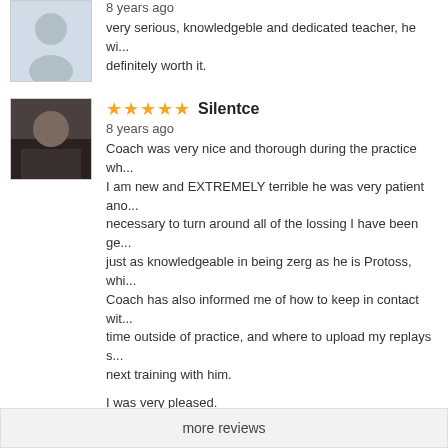8 years ago
very serious, knowledgeble and dedicated teacher, he wi... definitely worth it.
★★★★★ Silentce
8 years ago
Coach was very nice and thorough during the practice wh... I am new and EXTREMELY terrible he was very patient ano... necessary to turn around all of the lossing I have been ge... just as knowledgeable in being zerg as he is Protoss, whi... Coach has also informed me of how to keep in contact wit... time outside of practice, and where to upload my replays s... next training with him.

I was very pleased.
★★★★★ szoker
8 years ago
Everything was great and after two hours with him i fell ju...
more reviews